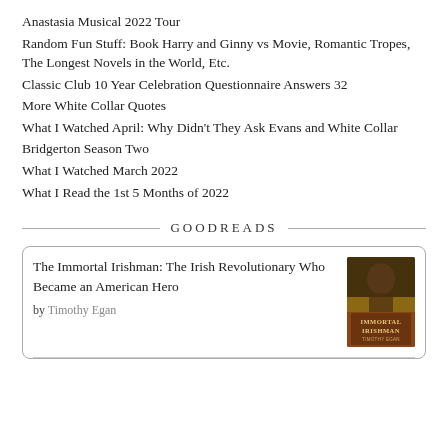Anastasia Musical 2022 Tour
Random Fun Stuff: Book Harry and Ginny vs Movie, Romantic Tropes, The Longest Novels in the World, Etc.
Classic Club 10 Year Celebration Questionnaire Answers 32
More White Collar Quotes
What I Watched April: Why Didn't They Ask Evans and White Collar
Bridgerton Season Two
What I Watched March 2022
What I Read the 1st 5 Months of 2022
GOODREADS
[Figure (other): Book cover widget for 'The Immortal Irishman: The Irish Revolutionary Who Became an American Hero' by Timothy Egan, showing book cover image with brown/orange tones and the title text Immortal Irishman by Timothy Egan]
The Immortal Irishman: The Irish Revolutionary Who Became an American Hero
by Timothy Egan